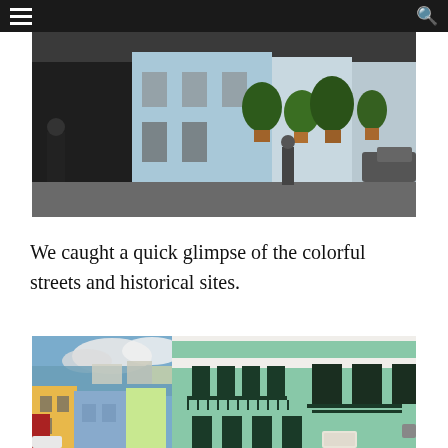navigation bar with hamburger menu and search icon
[Figure (photo): Street scene with colorful buildings including light blue and white facades, potted plants and trees along a sidewalk, people walking, cars parked on the right side.]
We caught a quick glimpse of the colorful streets and historical sites.
[Figure (photo): Aerial/elevated view of Old San Juan street with colorful colonial buildings — prominent mint green building with dark green iron balconies in foreground, yellow and blue buildings along the sloping street, ocean and city visible in background under a partly cloudy sky.]